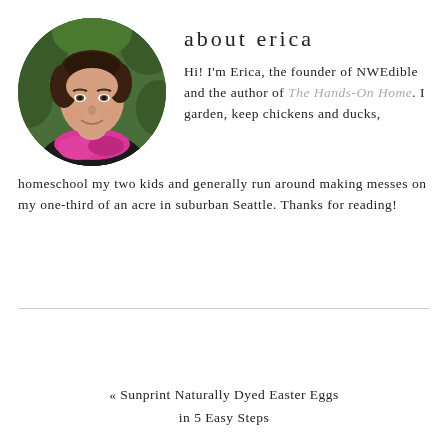[Figure (photo): Circular portrait photo of a woman with short dark hair wearing a bright pink/magenta scarf, with green leafy background]
about erica
Hi! I'm Erica, the founder of NWEdible and the author of The Hands-On Home. I garden, keep chickens and ducks, homeschool my two kids and generally run around making messes on my one-third of an acre in suburban Seattle. Thanks for reading!
« Sunprint Naturally Dyed Easter Eggs in 5 Easy Steps